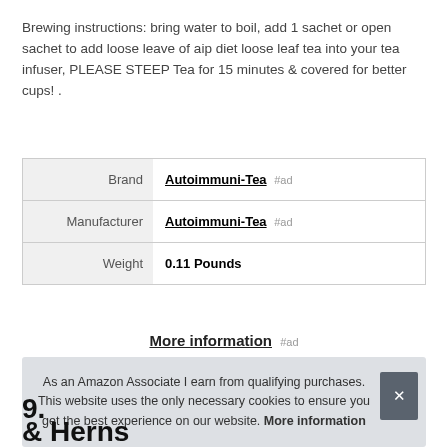Brewing instructions: bring water to boil, add 1 sachet or open sachet to add loose leave of aip diet loose leaf tea into your tea infuser, PLEASE STEEP Tea for 15 minutes & covered for better cups! .
| Brand | Autoimmuni-Tea #ad |
| Manufacturer | Autoimmuni-Tea #ad |
| Weight | 0.11 Pounds |
More information #ad
As an Amazon Associate I earn from qualifying purchases. This website uses the only necessary cookies to ensure you get the best experience on our website. More information
9.
& Herns